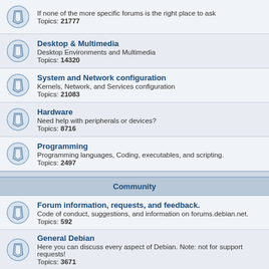If none of the more specific forums is the right place to ask. Topics: 21777
Desktop & Multimedia. Desktop Environments and Multimedia. Topics: 14320
System and Network configuration. Kernels, Network, and Services configuration. Topics: 21083
Hardware. Need help with peripherals or devices? Topics: 8716
Programming. Programming languages, Coding, executables, and scripting. Topics: 2497
Community
Forum information, requests, and feedback. Code of conduct, suggestions, and information on forums.debian.net. Topics: 592
General Debian. Here you can discuss every aspect of Debian. Note: not for support requests! Topics: 3671
Offtopic. If it doesn't relate to Debian, but you still want to share it, please do it here. Topics: 4448
Documentation
Docs, Howtos, Tips & Tricks. Share your own howto's etc. Not for support questions!